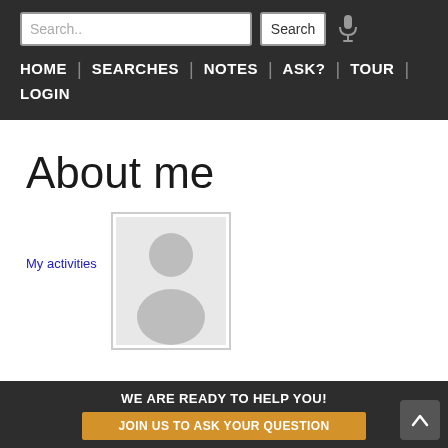Search.. | Search | [mic] | HOME | SEARCHES | NOTES | ASK? | TOUR | LOGIN
About me
My activities
[Figure (illustration): Default user avatar/profile image placeholder showing a silhouette of a person in gray on a light gray background]
WE ARE READY TO HELP YOU! JOIN US TO ASK YOUR QUESTION